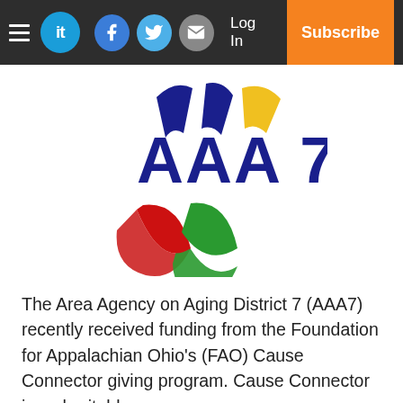it | Log In | Subscribe — navigation bar with social icons
[Figure (logo): AAA7 Area Agency on Aging District 7 logo: dark blue text 'AAA 7' with overlapping colored arcs (navy blue, yellow, red, green) forming an abstract circular symbol]
The Area Agency on Aging District 7 (AAA7) recently received funding from the Foundation for Appalachian Ohio's (FAO) Cause Connector giving program. Cause Connector is a charitable